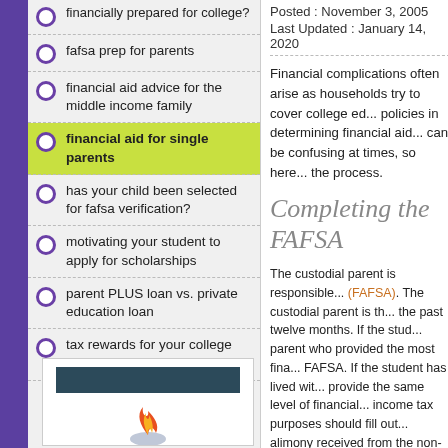financially prepared for college?
fafsa prep for parents
financial aid advice for the middle income family
financial aid for single parents
has your child been selected for fafsa verification?
motivating your student to apply for scholarships
parent PLUS loan vs. private education loan
tax rewards for your college spending
[Figure (illustration): Decorative image with a dark bar and flame/logo illustration]
Posted : November 3, 2005
Last Updated : January 14, 2020
Financial complications often arise as households try to cover college ed... policies in determining financial aid... can be confusing at times, so here... the process.
Completing the FAFSA
The custodial parent is responsible... (FAFSA). The custodial parent is th... the past twelve months. If the stud... parent who provided the most fina... FAFSA. If the student has lived wit... provide the same level of financial... income tax purposes should fill out... alimony received from the non-cus...
Responsibility of the N...
The federal government does not at...